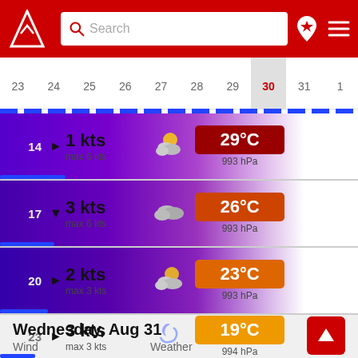[Figure (screenshot): App header with red background, logo (triangle with arrow), search bar, bookmark icon, and hamburger menu]
[Figure (infographic): Calendar date strip showing dates 23-31 and 1, with date 30 highlighted/selected]
14  ► 1 kts  max 6 kts  [partly cloudy icon]  29°C  993 hPa
17  ▼ 3 kts  max 6 kts  [cloudy icon]  26°C  993 hPa
20  ► 2 kts  max 3 kts  [partly cloudy icon]  23°C  993 hPa
23  ► 3 kts  max 3 kts  [crescent moon icon]  19°C  994 hPa
Wednesday, Aug 31
Wind    Weather